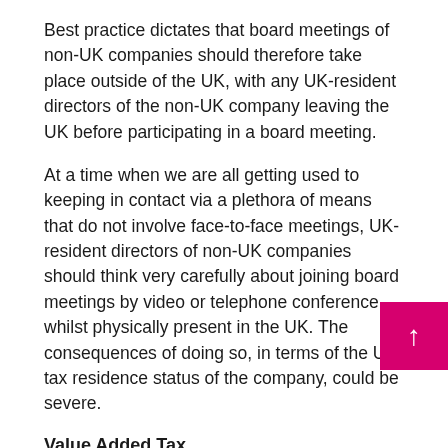Best practice dictates that board meetings of non-UK companies should therefore take place outside of the UK, with any UK-resident directors of the non-UK company leaving the UK before participating in a board meeting.
At a time when we are all getting used to keeping in contact via a plethora of means that do not involve face-to-face meetings, UK-resident directors of non-UK companies should think very carefully about joining board meetings by video or telephone conference whilst physically present in the UK. The consequences of doing so, in terms of the UK tax residence status of the company, could be severe.
Value Added Tax
The so-called "place of supply" rules determine whether cross-border services are subject to VAT (and, if so, in which jurisdiction).
The general rule², for business-to-business (B2B) cross-